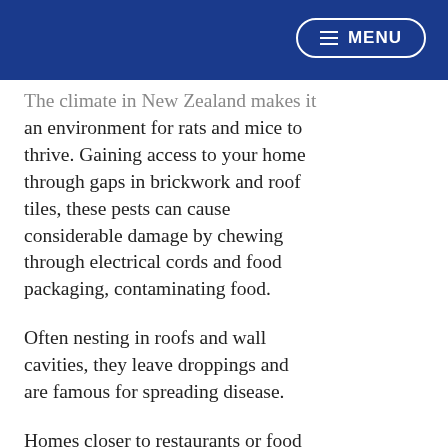MENU
The climate in New Zealand makes it an environment for rats and mice to thrive. Gaining access to your home through gaps in brickwork and roof tiles, these pests can cause considerable damage by chewing through electrical cords and food packaging, contaminating food.
Often nesting in roofs and wall cavities, they leave droppings and are famous for spreading disease.
Homes closer to restaurants or food related businesses, are at higher risk of rat infestation and should take extra care in preventing rodents from gaining entry.